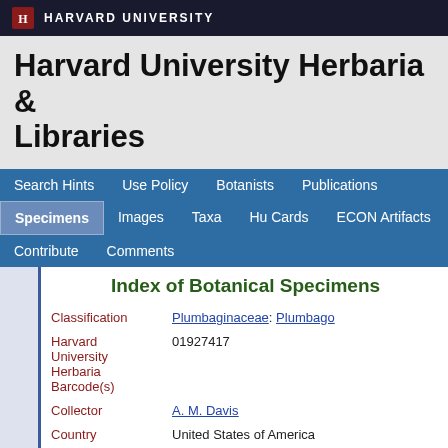HARVARD UNIVERSITY
Harvard University Herbaria & Libraries
Search Hints | Use Policy | Botanists | Publications | Specimens | Images | Taxa | Hu Cards | ECON Artifacts | Contribute | Comments
Index of Botanical Specimens
| Field | Value |
| --- | --- |
| Classification | Plumbaginaceae: Plumbago |
| Harvard University Herbaria Barcode(s) | 01927417 |
| Collector | A. M. Davis |
| Country | United States of America |
| State | Texas |
| Geography | North America: North America (CA, US, MX) (Region): United States of America: Texas: Cameron County |